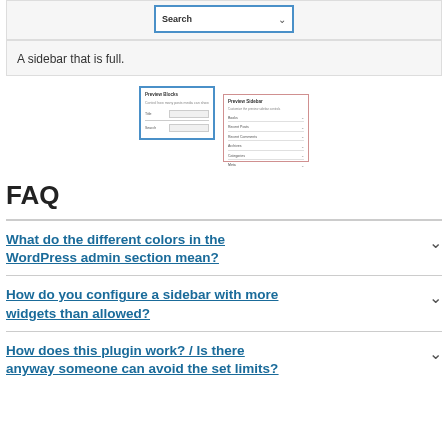[Figure (screenshot): A screenshot showing a sidebar widget with a Search dropdown and a blue border, plus a second screenshot showing a sidebar configuration panel with multiple fields and a red border.]
A sidebar that is full.
FAQ
What do the different colors in the WordPress admin section mean?
How do you configure a sidebar with more widgets than allowed?
How does this plugin work? / Is there anyway someone can avoid the set limits?